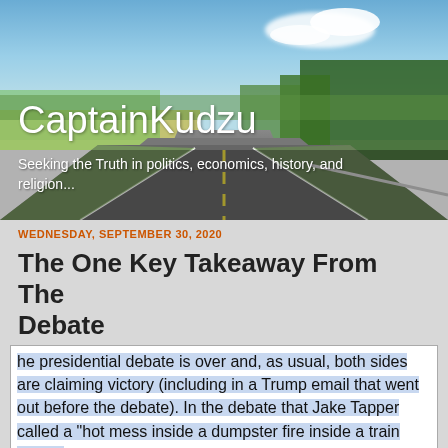[Figure (photo): Road stretching into the distance with blue sky, clouds, green trees on right, grass fields. Blog header banner image.]
CaptainKudzu
Seeking the Truth in politics, economics, history, and religion...
WEDNESDAY, SEPTEMBER 30, 2020
The One Key Takeaway From The Debate
he presidential debate is over and, as usual, both sides are claiming victory (including in a Trump email that went out before the debate). In the debate that Jake Tapper called a “hot mess inside a dumpster fire inside a train wreck"